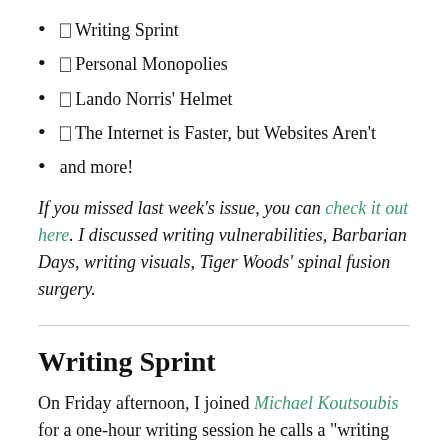✏ Writing Sprint
✏ Personal Monopolies
✏ Lando Norris' Helmet
✏ The Internet is Faster, but Websites Aren't
and more!
If you missed last week's issue, you can check it out here. I discussed writing vulnerabilities, Barbarian Days, writing visuals, Tiger Woods' spinal fusion surgery.
Writing Sprint
On Friday afternoon, I joined Michael Koutsoubis for a one-hour writing session he calls a "writing sprint". The